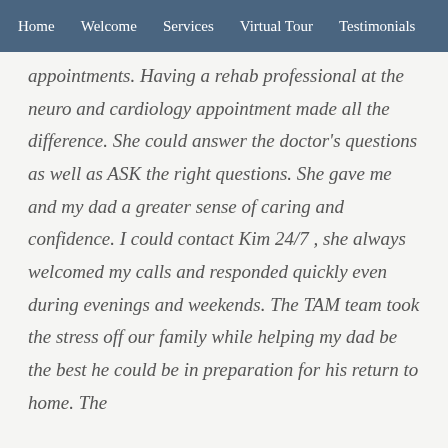Home   Welcome   Services   Virtual Tour   Testimonials
appointments. Having a rehab professional at the neuro and cardiology appointment made all the difference. She could answer the doctor's questions as well as ASK the right questions. She gave me and my dad a greater sense of caring and confidence. I could contact Kim 24/7 , she always welcomed my calls and responded quickly even during evenings and weekends. The TAM team took the stress off our family while helping my dad be the best he could be in preparation for his return to home. The